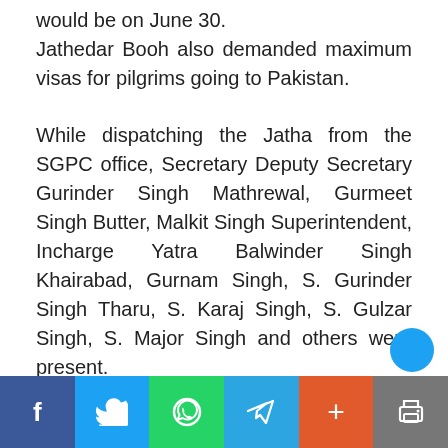would be on June 30. Jathedar Booh also demanded maximum visas for pilgrims going to Pakistan.
While dispatching the Jatha from the SGPC office, Secretary Deputy Secretary Gurinder Singh Mathrewal, Gurmeet Singh Butter, Malkit Singh Superintendent, Incharge Yatra Balwinder Singh Khairabad, Gurnam Singh, S. Gurinder Singh Tharu, S. Karaj Singh, S. Gulzar Singh, S. Major Singh and others were present.
Social share buttons: Facebook, Twitter, WhatsApp, Telegram, Share, Print